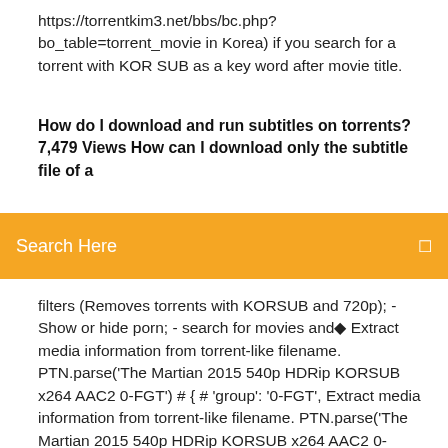https://torrentkim3.net/bbs/bc.php?bo_table=torrent_movie in Korea) if you search for a torrent with KOR SUB as a key word after movie title.
How do I download and run subtitles on torrents? 7,479 Views How can I download only the subtitle file of a
Search Here
filters (Removes torrents with KORSUB and 720p); - Show or hide porn; - search for movies and◆ Extract media information from torrent-like filename. PTN.parse('The Martian 2015 540p HDRip KORSUB x264 AAC2 0-FGT') # { # 'group': '0-FGT', Extract media information from torrent-like filename. PTN.parse('The Martian 2015 540p HDRip KORSUB x264 AAC2 0-FGT') # { # 'group': '0-FGT', Aug 21, 2016 This is of course if you keep the torrent running after the download You'll see strange words like KORSUB (means, Korean subtitles are◆ (N) 2019-05-14T10:15:29 - Torrent: Shazam.2019.1080p.KORSUB. Each time